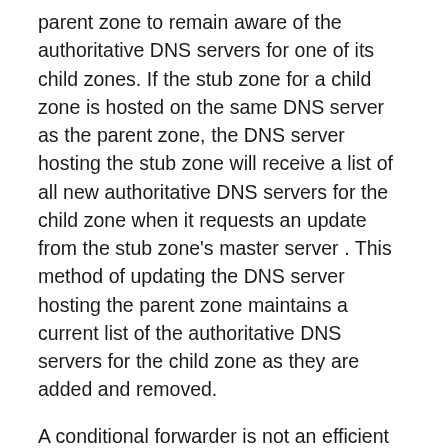parent zone to remain aware of the authoritative DNS servers for one of its child zones. If the stub zone for a child zone is hosted on the same DNS server as the parent zone, the DNS server hosting the stub zone will receive a list of all new authoritative DNS servers for the child zone when it requests an update from the stub zone's master server . This method of updating the DNS server hosting the parent zone maintains a current list of the authoritative DNS servers for the child zone as they are added and removed.
A conditional forwarder is not an efficient method of keeping a DNS server hosting a parent zone aware of the authoritative DNS servers for a child zone. If you used this method, whenever the authoritative DNS servers for the child zone changed, the conditional forwarder setting on the DNS server hosting the parent zone would have to be manually configured with the IP address for each new authoritative DNS server for the child zone. For more